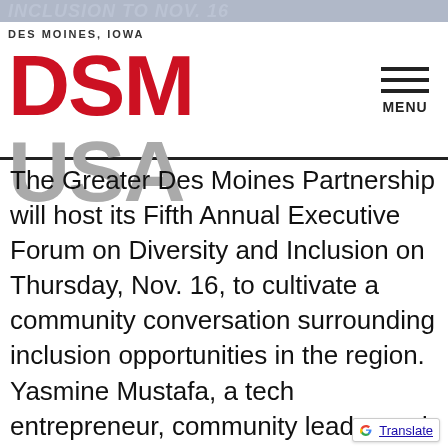INCLUSION TO NOV. 16 | DES MOINES, IOWA | DSM USA | MENU
The Greater Des Moines Partnership will host its Fifth Annual Executive Forum on Diversity and Inclusion on Thursday, Nov. 16, to cultivate a community conversation surrounding inclusion opportunities in the region. Yasmine Mustafa, a tech entrepreneur, community leader and advisor, will be the keynote speaker.
Championing the underprivileged has been a core part of Mustafa's identity since her family was rescued from the Persian Gulf War. After growing